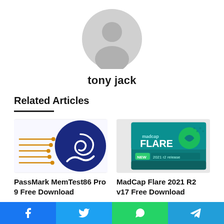[Figure (illustration): Gray default user avatar silhouette circle]
tony jack
Related Articles
[Figure (illustration): PassMark MemTest86 Pro 9 logo - RAM chip with swirling circuit design in blue and gold]
PassMark MemTest86 Pro 9 Free Download
[Figure (illustration): MadCap Flare 2021 R2 v17 product box art in teal/green with logo]
MadCap Flare 2021 R2 v17 Free Download